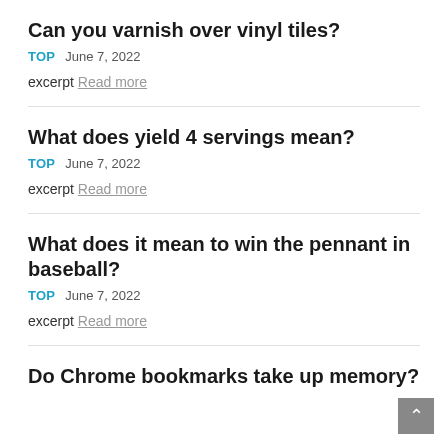Can you varnish over vinyl tiles?
TOP   June 7, 2022
excerpt Read more
What does yield 4 servings mean?
TOP   June 7, 2022
excerpt Read more
What does it mean to win the pennant in baseball?
TOP   June 7, 2022
excerpt Read more
Do Chrome bookmarks take up memory?